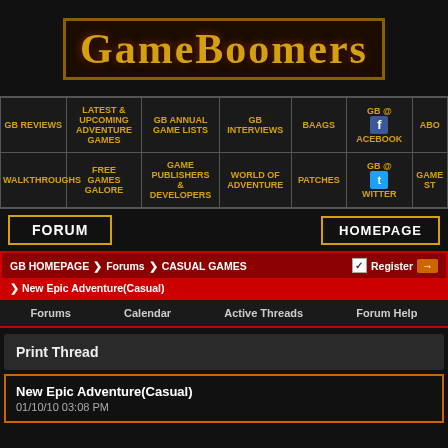GameBoomers
| GB REVIEWS | LATEST & UPCOMING ADVENTURE GAMES | GB ANNUAL GAME LISTS | GB INTERVIEWS | BAAGS | GB @ FACEBOOK | ABO |
| --- | --- | --- | --- | --- | --- | --- |
| WALKTHROUGHS | FREE GAMES GALORE | GAME PUBLISHERS & DEVELOPERS | WORLD OF ADVENTURE | PATCHES | GB @ TWITTER | GAME ST |
FORUM
HOMEPAGE
GB HOMEPAGE > Forums > CASUAL GAMES   ☑ Register →
> New Epic Adventure(Casual)
Forums    Calendar    Active Threads    Forum Help
Print Thread
New Epic Adventure(Casual)
01/10/10 03:08 PM